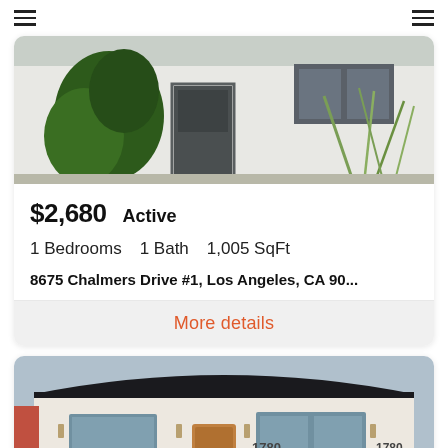Navigation header with hamburger menus
[Figure (photo): Exterior photo of a modern white house with large plants and a dark grey front door]
$2,680  Active
1 Bedrooms    1 Bath    1,005 SqFt
8675 Chalmers Drive #1, Los Angeles, CA 90...
More details
[Figure (photo): Exterior photo of a white bungalow with dark roof, wood front door, house numbers 1780, and exterior wall sconces]